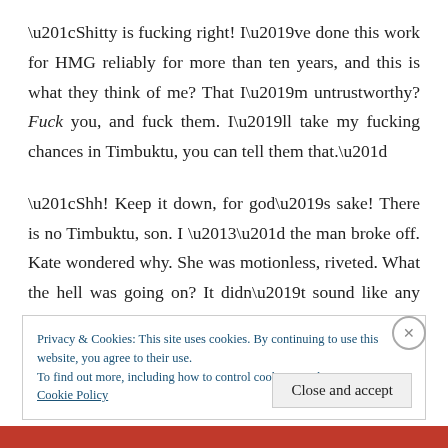“Shitty is fucking right! I’ve done this work for HMG reliably for more than ten years, and this is what they think of me? That I’m untrustworthy? Fuck you, and fuck them. I’ll take my fucking chances in Timbuktu, you can tell them that.”
“Shh! Keep it down, for god’s sake! There is no Timbuktu, son. I –” the man broke off. Kate wondered why. She was motionless, riveted. What the hell was going on? It didn’t sound like any kind of conversation that could possibly
Privacy & Cookies: This site uses cookies. By continuing to use this website, you agree to their use.
To find out more, including how to control cookies, see here: Cookie Policy